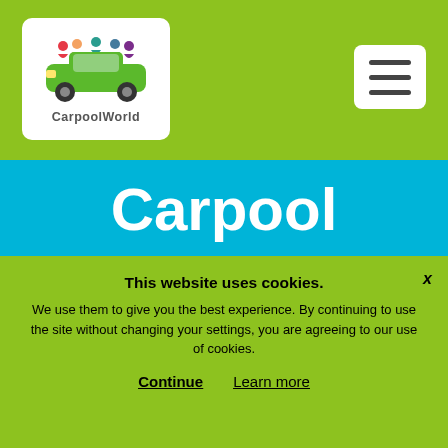[Figure (logo): CarpoolWorld logo: green car with colorful people figures on top, white background with rounded corners, text 'CarpoolWorld' beneath]
[Figure (other): Hamburger menu button with three horizontal lines, white background]
Carpool Lisbon to Hamburg Hamburg Germany
This website uses cookies. We use them to give you the best experience. By continuing to use the site without changing your settings, you are agreeing to our use of cookies.
Continue   Learn more